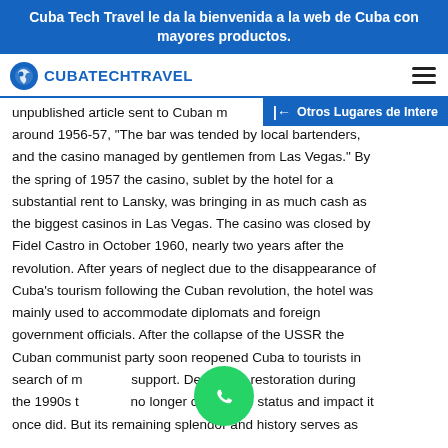Cuba Tech Travel le da la bienvenida a la web de Cuba con mayores productos.
CUBATECHTRAVEL
unpublished article sent to Cuban [media] around 1956-57, "The bar was tended by local bartenders, and the casino managed by gentlemen from Las Vegas." By the spring of 1957 the casino, sublet by the hotel for a substantial rent to Lansky, was bringing in as much cash as the biggest casinos in Las Vegas. The casino was closed by Fidel Castro in October 1960, nearly two years after the revolution. After years of neglect due to the disappearance of Cuba's tourism following the Cuban revolution, the hotel was mainly used to accommodate diplomats and foreign government officials. After the collapse of the USSR the Cuban communist party soon reopened Cuba to tourists in search of monetary support. Despite its restoration during the 1990s the [hotel] no longer carries the status and impact it once did. But its remaining splendor and history serves as